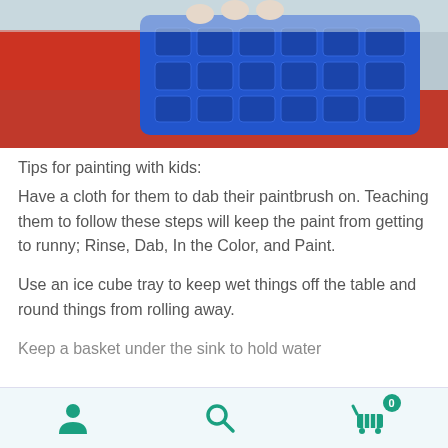[Figure (photo): Child holding a blue ice cube tray, wearing a red top, seated at a table with a red surface]
Tips for painting with kids:
Have a cloth for them to dab their paintbrush on. Teaching them to follow these steps will keep the paint from getting to runny; Rinse, Dab, In the Color, and Paint.
Use an ice cube tray to keep wet things off the table and round things from rolling away.
Keep a basket under the sink to hold water
0